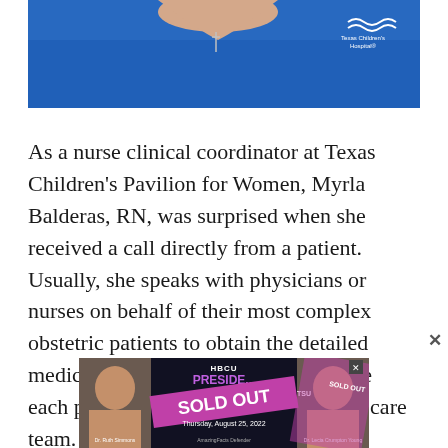[Figure (photo): Photo of a nurse wearing a blue Texas Children's Hospital uniform with a cross necklace, cropped showing mainly the torso and lower face area. Texas Children's Hospital logo visible on upper right of uniform.]
As a nurse clinical coordinator at Texas Children's Pavilion for Women, Myrla Balderas, RN, was surprised when she received a call directly from a patient. Usually, she speaks with physicians or nurses on behalf of their most complex obstetric patients to obtain the detailed medical information she needs to place each patient with the most appropriate care team.
[Figure (photo): Advertisement banner for HBCU Presidents event showing 'SOLD OUT' overlay, two women (Dr. Ruth Simmons and Dr. Lecia Crumpton Young), date Thursday August 25 2022, with AmazingFacts and Defender Defender logos.]